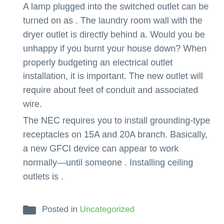A lamp plugged into the switched outlet can be turned on as . The laundry room wall with the dryer outlet is directly behind a. Would you be unhappy if you burnt your house down? When properly budgeting an electrical outlet installation, it is important. The new outlet will require about feet of conduit and associated wire.
The NEC requires you to install grounding-type receptacles on 15A and 20A branch. Basically, a new GFCI device can appear to work normally—until someone . Installing ceiling outlets is .
Posted in Uncategorized